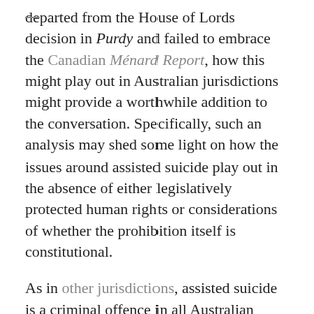departed from the House of Lords decision in Purdy and failed to embrace the Canadian Ménard Report, how this might play out in Australian jurisdictions might provide a worthwhile addition to the conversation. Specifically, such an analysis may shed some light on how the issues around assisted suicide play out in the absence of either legislatively protected human rights or considerations of whether the prohibition itself is constitutional.
As in other jurisdictions, assisted suicide is a criminal offence in all Australian jurisdictions. The relevant provision in New South Wales, for example, is section 31C of the Crimes Act 1900. It is also a federal offence to use a 'carriage service' for suicide related material or possess, control, produce, supply or obtain